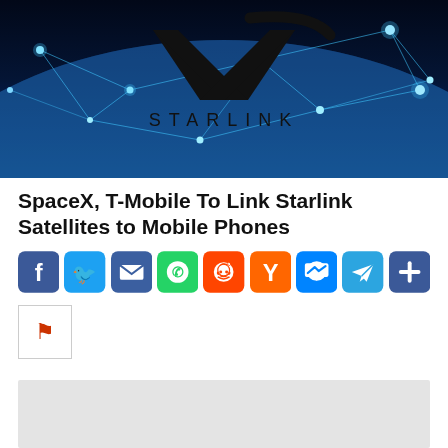[Figure (photo): Starlink hero image showing Earth from space with a network of glowing blue lines connecting nodes across the globe. The Starlink logo (an X shape) and the word STARLINK are displayed prominently in black against the dark blue space background.]
SpaceX, T-Mobile To Link Starlink Satellites to Mobile Phones
[Figure (infographic): Row of social sharing buttons: Facebook (blue, F), Twitter (blue, bird), Email (dark blue, envelope), WhatsApp (green, phone), Reddit (orange-red, alien), Hacker News (orange, Y), Messenger (blue, lightning bolt), Telegram (light blue, paper plane), Share (blue, plus sign)]
[Figure (other): Small thumbnail placeholder box with a red bookmark/flag icon inside, white background with gray border]
[Figure (other): Advertisement banner area with light gray background]